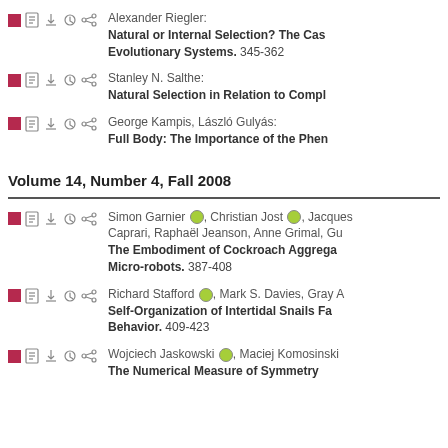Alexander Riegler: Natural or Internal Selection? The Case for Evolutionary Systems. 345-362
Stanley N. Salthe: Natural Selection in Relation to Complexity.
George Kampis, László Gulyás: Full Body: The Importance of the Phenotype.
Volume 14, Number 4, Fall 2008
Simon Garnier, Christian Jost, Jacques Caprari, Raphaël Jeanson, Anne Grimal, Guy... The Embodiment of Cockroach Aggregation Behavior in a Group of Micro-robots. 387-408
Richard Stafford, Mark S. Davies, Gray A... Self-Organization of Intertidal Snails Facilitates Feeding Behavior. 409-423
Wojciech Jaskowski, Maciej Komosinski... The Numerical Measure of Symmetry...